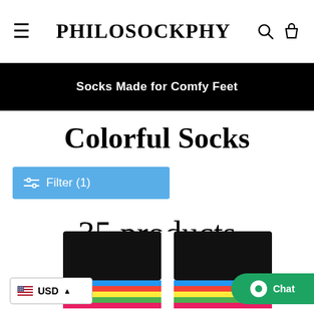PHILOSOCKPHY
Socks Made for Comfy Feet
Colorful Socks
Filter (1)
35 products
[Figure (photo): Two colorful striped socks with black tops and rainbow stripes visible at the bottom of the page]
USD
Chat